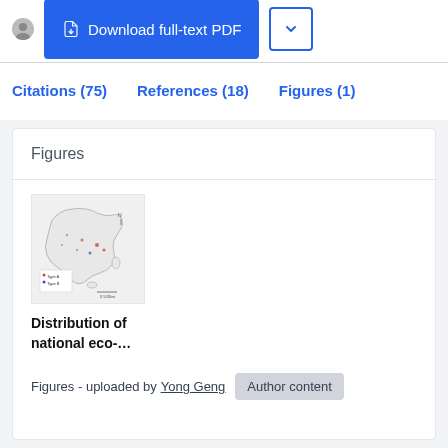[Figure (other): Download full-text PDF button with document icon and dropdown arrow button]
Citations (75)   References (18)   Figures (1)
Figures
[Figure (map): Thumbnail map showing distribution of national eco- locations across China]
Distribution of national eco-...
Figures - uploaded by Yong Geng   Author content